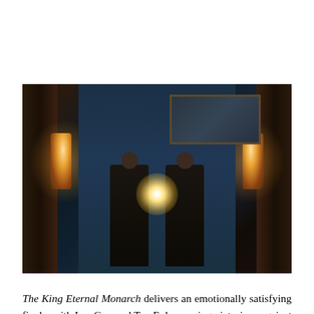[Figure (photo): A dark, atmospheric still from The King Eternal Monarch showing two figures in dark coats standing in a grand ornate interior with warm wall sconces on either side, a framed artwork behind them, and a bright central light flare between them.]
The King Eternal Monarch delivers an emotionally satisfying finale, with Lee Gon and Tae-Eul emerging victorious against both Lee Lims, resulting in the fates of